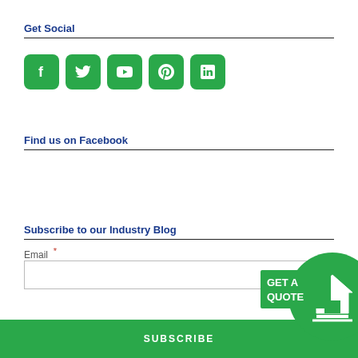Get Social
[Figure (infographic): Five green rounded-square social media icons: Facebook (f), Twitter (bird), YouTube (play button), Pinterest (p), LinkedIn (in)]
Find us on Facebook
Subscribe to our Industry Blog
Email *
[Figure (infographic): GET A QUOTE button with green circle badge and house icon, overlapping a green SUBSCRIBE button at the bottom]